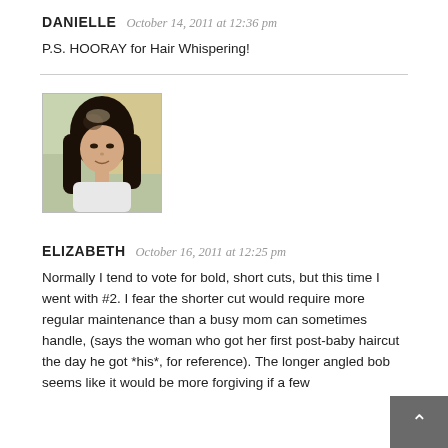DANIELLE  October 14, 2011 at 12:36 pm
P.S. HOORAY for Hair Whispering!
[Figure (photo): Profile photo of Elizabeth, a woman with long dark hair.]
ELIZABETH  October 16, 2011 at 12:25 pm
Normally I tend to vote for bold, short cuts, but this time I went with #2. I fear the shorter cut would require more regular maintenance than a busy mom can sometimes handle, (says the woman who got her first post-baby haircut the day he got *his*, for reference). The longer angled bob seems like it would be more forgiving if a few